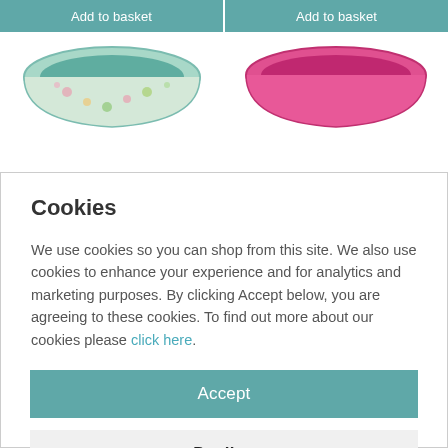Add to basket
Add to basket
[Figure (photo): Partial view of a decorative floral-patterned teal/green bowl on the left and a solid pink bowl on the right, shown from above at the top of the page]
Cookies
We use cookies so you can shop from this site. We also use cookies to enhance your experience and for analytics and marketing purposes. By clicking Accept below, you are agreeing to these cookies. To find out more about our cookies please click here.
Accept
Decline